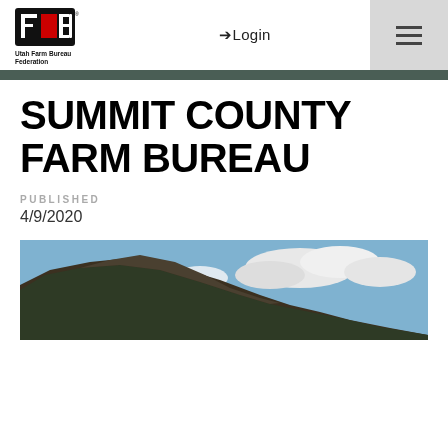[Figure (logo): Utah Farm Bureau Federation logo — black stylized FB shield with red accent, text below reads 'Utah Farm Bureau Federation']
➔ Login
[Figure (other): Hamburger menu icon (three horizontal lines)]
SUMMIT COUNTY FARM BUREAU
PUBLISHED
4/9/2020
[Figure (photo): Panoramic landscape photo showing a rocky mountain hillside with trees on the left and a partly cloudy blue sky on the right]